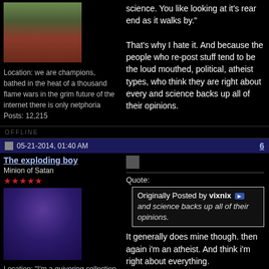[Figure (photo): Avatar image showing two rabbits on a red brick/wood surface]
Location: we are champions, bathed in the heat of a thousand flame wars in the grim future of the internet there is only netphoria
Posts: 12,215
science. You like looking at it's rear end as it walks by."

That's why I hate it. And because the people who re-post stuff tend to be the loud mouthed, political, atheist types, who think they are right about every and science backs up all of their opinions.
OFFLINE
05-21-2014, 01:40 AM   6
The exploding boy
Minion of Satan
[Figure (photo): Avatar of a cartoon frog character wearing sunglasses and a teal hoodie with colorful purple background]
Location: "I'm a quivering collection of the worst and least helpful emotions: fear, anxiety, terror, paranoia, indigestion, dishpan hands..."
Posts: 7,765
Quote:
Originally Posted by vixnix
and science backs up all of their opinions.
It generally does mine though. then again i'm an atheist. And think i'm right about everything.